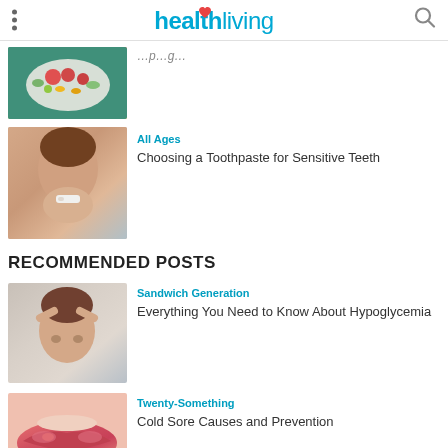healthliving
[Figure (photo): Bowl of colorful berries, fruits and nuts on a teal surface with mint leaves]
(truncated article title text)
[Figure (photo): Young woman smiling and biting a toothbrush]
All Ages
Choosing a Toothpaste for Sensitive Teeth
RECOMMENDED POSTS
[Figure (photo): Woman with headache holding her head with both hands]
Sandwich Generation
Everything You Need to Know About Hypoglycemia
[Figure (photo): Close-up of lips with cold sore]
Twenty-Something
Cold Sore Causes and Prevention